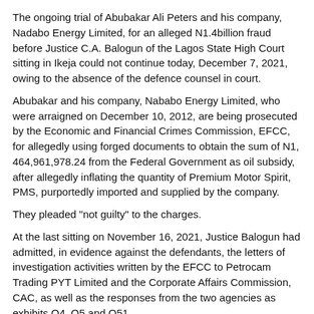The ongoing trial of Abubakar Ali Peters and his company, Nadabo Energy Limited, for an alleged N1.4billion fraud before Justice C.A. Balogun of the Lagos State High Court sitting in Ikeja could not continue today, December 7, 2021, owing to the absence of the defence counsel in court.
Abubakar and his company, Nababo Energy Limited, who were arraigned on December 10, 2012, are being prosecuted by the Economic and Financial Crimes Commission, EFCC, for allegedly using forged documents to obtain the sum of N1, 464,961,978.24 from the Federal Government as oil subsidy, after allegedly inflating the quantity of Premium Motor Spirit, PMS, purportedly imported and supplied by the company.
They pleaded "not guilty" to the charges.
At the last sitting on November 16, 2021, Justice Balogun had admitted, in evidence against the defendants, the letters of investigation activities written by the EFCC to Petrocam Trading PYT Limited and the Corporate Affairs Commission, CAC, as well as the responses from the two agencies as exhibits O4, O5 and O51.
The documents were tendered by the prosecuting counsel, S.K. Atteh, through the Executive Chairman, EFCC, Abdulrasheed Bawa, who is the fifth prosecution witness and the lead investigator.